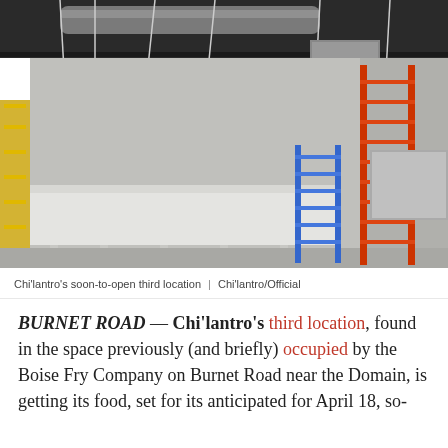[Figure (photo): Interior of a restaurant under construction. The space has unpainted gray walls, a dark industrial ceiling with exposed ductwork, pendant lights wrapped in protective plastic, two ladders (one blue, one red/orange), and a long counter covered in white paper or plastic sheeting along the walls. The floor is bare concrete.]
Chi'lantro's soon-to-open third location  |  Chi'lantro/Official
BURNET ROAD — Chi'lantro's third location, found in the space previously (and briefly) occupied by the Boise Fry Company on Burnet Road near the Domain, is getting its food, set for its anticipated for April 18, so-